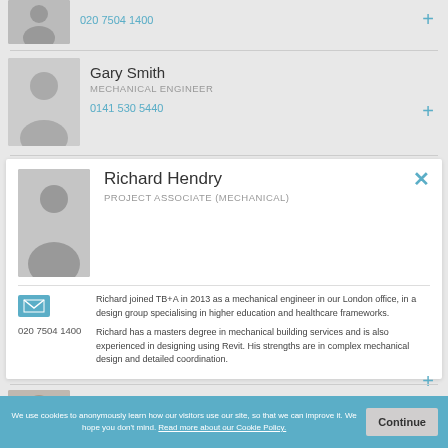[Figure (photo): Partial profile photo of person above Gary Smith]
020 7504 1400
[Figure (photo): Profile photo of Gary Smith]
Gary Smith
MECHANICAL ENGINEER
0141 530 5440
[Figure (photo): Profile photo of Richard Hendry]
Richard Hendry
PROJECT ASSOCIATE (MECHANICAL)
Richard joined TB+A in 2013 as a mechanical engineer in our London office, in a design group specialising in higher education and healthcare frameworks.

Richard has a masters degree in mechanical building services and is also experienced in designing using Revit. His strengths are in complex mechanical design and detailed coordination.
020 7504 1400
[Figure (photo): Profile photo of Joe Smith]
Joe Smith
SENIOR ENGINEER
020 7504 1400
We use cookies to anonymously learn how our visitors use our site, so that we can improve it. We hope you don't mind. Read more about our Cookie Policy.